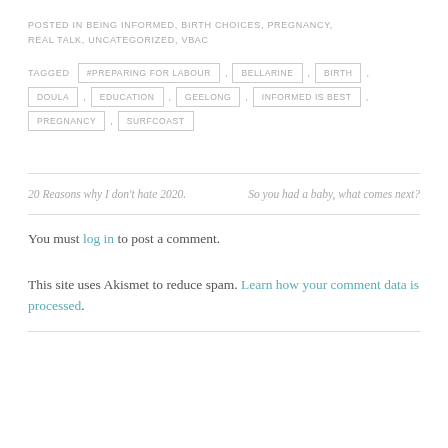POSTED IN BEING INFORMED, BIRTH CHOICES, PREGNANCY, REAL TALK, UNCATEGORIZED, VBAC
TAGGED #PREPARING FOR LABOUR , BELLARINE , BIRTH , DOULA , EDUCATION , GEELONG , INFORMED IS BEST , PREGNANCY , SURFCOAST
20 Reasons why I don't hate 2020.
So you had a baby, what comes next?
You must log in to post a comment.
This site uses Akismet to reduce spam. Learn how your comment data is processed.